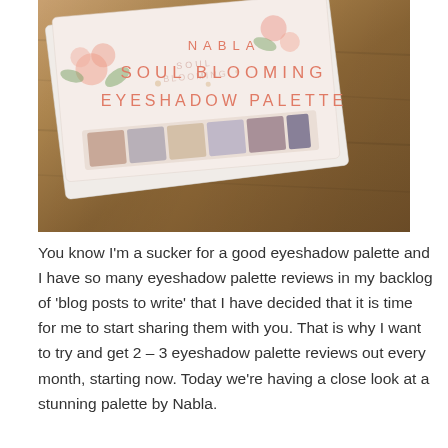[Figure (photo): A Nabla Soul Blooming Eyeshadow Palette laying on a wooden surface. The palette has a floral design on its cover with pink and green flowers. Overlaid text on the image reads 'NABLA SOUL BLOOMING EYESHADOW PALETTE' in coral/salmon colored spaced capital letters.]
You know I'm a sucker for a good eyeshadow palette and I have so many eyeshadow palette reviews in my backlog of 'blog posts to write' that I have decided that it is time for me to start sharing them with you. That is why I want to try and get 2 – 3 eyeshadow palette reviews out every month, starting now. Today we're having a close look at a stunning palette by Nabla.